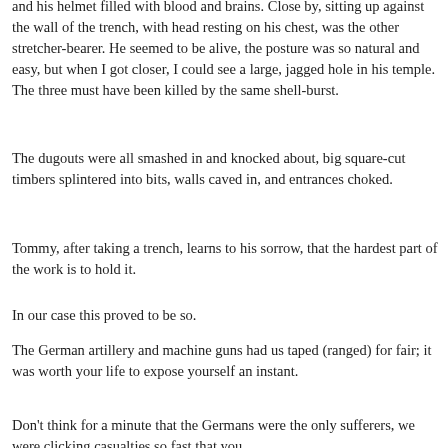and his helmet filled with blood and brains. Close by, sitting up against the wall of the trench, with head resting on his chest, was the other stretcher-bearer. He seemed to be alive, the posture was so natural and easy, but when I got closer, I could see a large, jagged hole in his temple. The three must have been killed by the same shell-burst.
The dugouts were all smashed in and knocked about, big square-cut timbers splintered into bits, walls caved in, and entrances choked.
Tommy, after taking a trench, learns to his sorrow, that the hardest part of the work is to hold it.
In our case this proved to be so.
The German artillery and machine guns had us taped (ranged) for fair; it was worth your life to expose yourself an instant.
Don't think for a minute that the Germans were the only sufferers, we were clicking casualties so fast that you